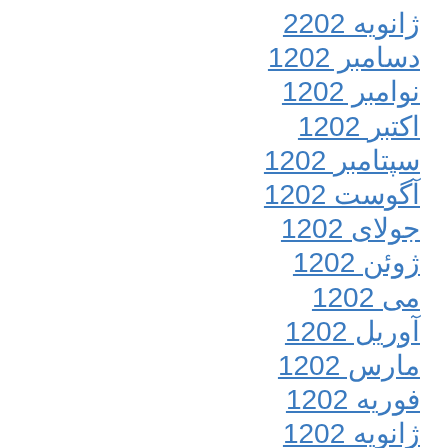ژانویه 2022
دسامبر 2021
نوامبر 2021
اکتبر 2021
سپتامبر 2021
آگوست 2021
جولای 2021
ژوئن 2021
می 2021
آوریل 2021
مارس 2021
فوریه 2021
ژانویه 2021